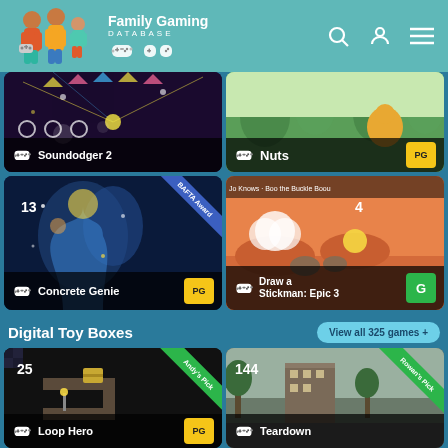Family Gaming DATABASE
[Figure (screenshot): Soundodger 2 game card with dark background, music visualization]
[Figure (screenshot): Nuts game card with illustrated nature background, PG rating]
[Figure (screenshot): Concrete Genie game card with BAFTA Award ribbon, PG rating]
[Figure (screenshot): Draw a Stickman: Epic 3 game card with G rating]
Digital Toy Boxes
View all 325 games +
[Figure (screenshot): Loop Hero game card with Andy's Pick ribbon, PG rating]
[Figure (screenshot): Teardown game card with Rowan's Pick ribbon]